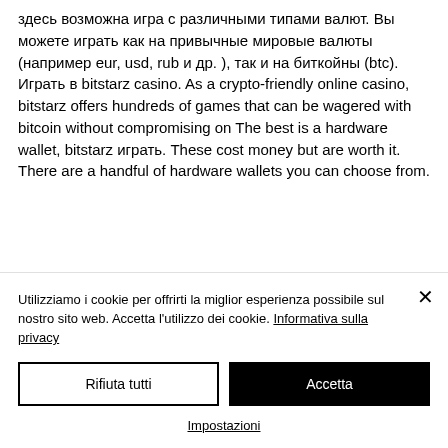здесь возможна игра с различными типами валют. Вы можете играть как на привычные мировые валюты (например eur, usd, rub и др. ), так и на биткойны (btc). Играть в bitstarz casino. As a crypto-friendly online casino, bitstarz offers hundreds of games that can be wagered with bitcoin without compromising on The best is a hardware wallet, bitstarz играть. These cost money but are worth it. There are a handful of hardware wallets you can choose from.
Utilizziamo i cookie per offrirti la miglior esperienza possibile sul nostro sito web. Accetta l'utilizzo dei cookie. Informativa sulla privacy
Rifiuta tutti
Accetta
Impostazioni